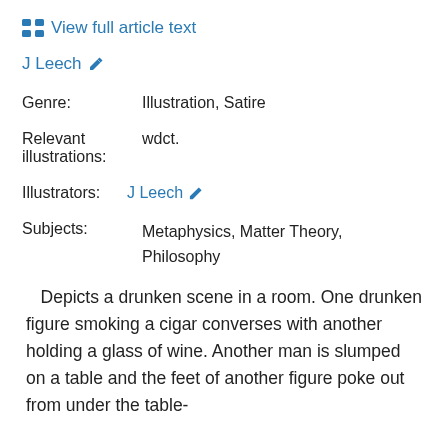View full article text
J Leech
Genre:   Illustration, Satire
Relevant illustrations:   wdct.
Illustrators:  J Leech
Subjects:  Metaphysics, Matter Theory, Philosophy
Depicts a drunken scene in a room. One drunken figure smoking a cigar converses with another holding a glass of wine. Another man is slumped on a table and the feet of another figure poke out from under the table-